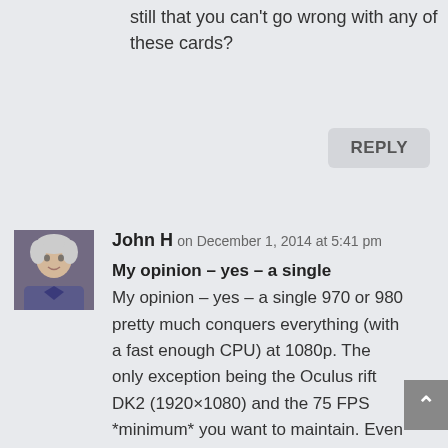still that you can't go wrong with any of these cards?
REPLY
[Figure (photo): Avatar photo of user John H, showing an older man with white hair]
John H on December 1, 2014 at 5:41 pm
My opinion – yes – a single
My opinion – yes – a single 970 or 980 pretty much conquers everything (with a fast enough CPU) at 1080p. The only exception being the Oculus rift DK2 (1920×1080) and the 75 FPS *minimum* you want to maintain. Even there, it'll do it for 98% of 3D games, but a few like Elite D...